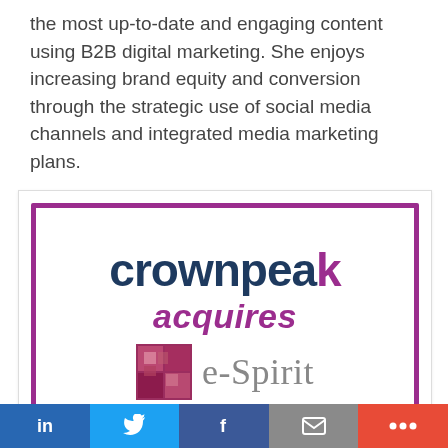the most up-to-date and engaging content using B2B digital marketing. She enjoys increasing brand equity and conversion through the strategic use of social media channels and integrated media marketing plans.
[Figure (logo): Crownpeak acquires e-Spirit logo card. A purple-bordered rectangle with 'crownpeak' in navy bold, 'acquires' in purple italic, and the e-Spirit logo (mosaic square icon) with 'e-Spirit' in gray serif text.]
Crownpeak Acquires DXP Provider e-Spirit
Press Release | Crownpeak
[Figure (infographic): Social sharing bar with LinkedIn (blue), Twitter (light blue), Facebook (dark blue), Email (gray), and More (red-orange) buttons.]